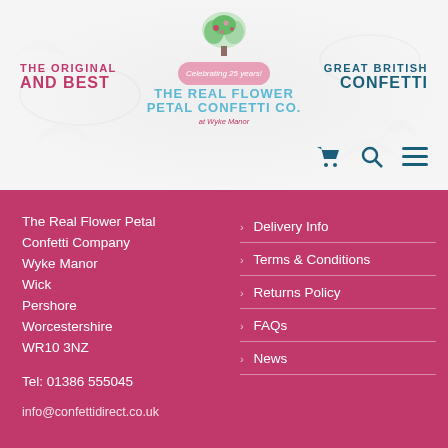[Figure (logo): The Real Flower Petal Confetti Co. at Wyke Manor logo with floral illustration and celebrating 25 years banner]
THE ORIGINAL
AND BEST
GREAT BRITISH
CONFETTI
The Real Flower Petal Confetti Company
Wyke Manor
Wick
Pershore
Worcestershire
WR10 3NZ

Tel: 01386 555045

info@confettidirect.co.uk
Delivery Info
Terms & Conditions
Returns Policy
FAQs
News